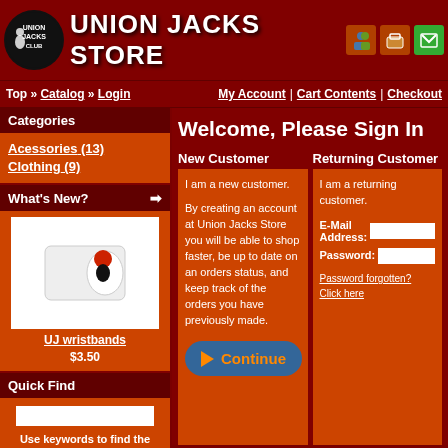UNION JACKS STORE
Top » Catalog » Login | My Account | Cart Contents | Checkout
Categories
Acessories (13)
Clothing (9)
What's New?
[Figure (photo): Product image of UJ wristbands on white background]
UJ wristbands $3.50
Quick Find
Use keywords to find the product you are looking for.
Advanced Search
Information
Shipping & Returns
Privacy Notice
Conditions of Use
Contact Us
Welcome, Please Sign In
New Customer
I am a new customer.

By creating an account at Union Jacks Store you will be able to shop faster, be up to date on an orders status, and keep track of the orders you have previously made.
Returning Customer
I am a returning customer.

E-Mail Address:
Password:

Password forgotten? Click here